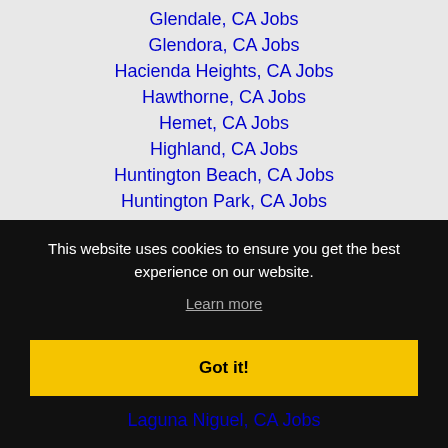Glendale, CA Jobs
Glendora, CA Jobs
Hacienda Heights, CA Jobs
Hawthorne, CA Jobs
Hemet, CA Jobs
Highland, CA Jobs
Huntington Beach, CA Jobs
Huntington Park, CA Jobs
Indio, CA Jobs
Inglewood, CA Jobs
This website uses cookies to ensure you get the best experience on our website.
Learn more
Got it!
Laguna Niguel, CA Jobs